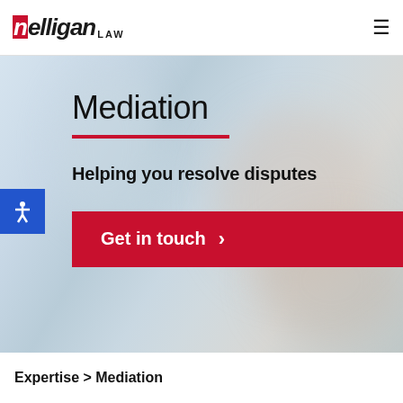melligan LAW
[Figure (photo): Blurred background hero image with light blue and grey tones, suggesting a professional office or legal environment]
Mediation
Helping you resolve disputes
Get in touch
Expertise > Mediation